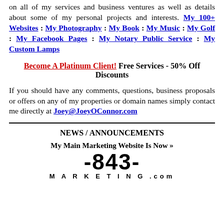on all of my services and business ventures as well as details about some of my personal projects and interests. My 100+ Websites : My Photography : My Book : My Music : My Golf : My Facebook Pages : My Notary Public Service : My Custom Lamps
Become A Platinum Client! Free Services - 50% Off Discounts
If you should have any comments, questions, business proposals or offers on any of my properties or domain names simply contact me directly at Joey@JoeyOConnor.com
NEWS / ANNOUNCEMENTS
My Main Marketing Website Is Now »
[Figure (logo): -843- MARKETING.com logo]